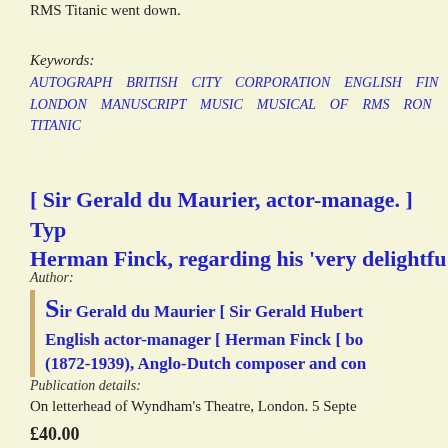RMS Titanic went down.
Keywords:
AUTOGRAPH BRITISH CITY CORPORATION ENGLISH FIN LONDON MANUSCRIPT MUSIC MUSICAL OF RMS RON TITANIC
[ Sir Gerald du Maurier, actor-manage. ] Typ Herman Finck, regarding his 'very delightfu
Author:
Sir Gerald du Maurier [ Sir Gerald Hubert English actor-manager [ Herman Finck [ bo (1872-1939), Anglo-Dutch composer and con
Publication details:
On letterhead of Wyndham's Theatre, London. 5 Septe
£40.00